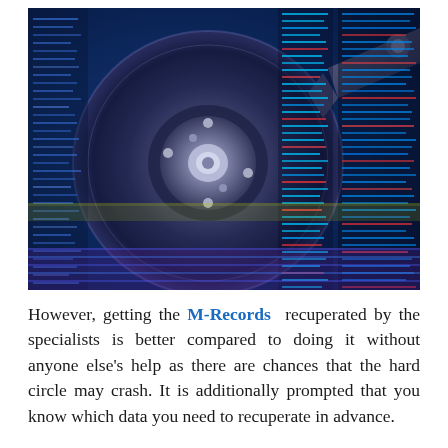[Figure (photo): Close-up photo of an open hard disk drive (HDD) showing the spinning platter and read/write arm, overlaid with blue-tinted data/code columns and digital effects suggesting data storage and recovery.]
However, getting the M-Records recuperated by the specialists is better compared to doing it without anyone else's help as there are chances that the hard circle may crash. It is additionally prompted that you know which data you need to recuperate in advance.